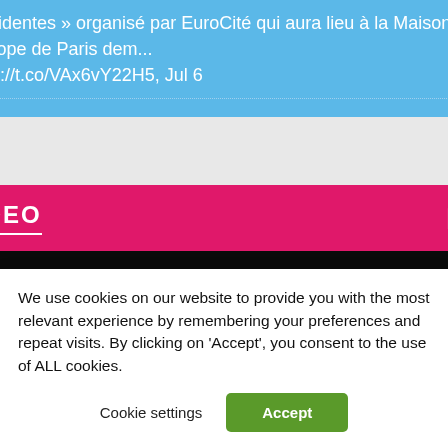Présidentes » organisé par EuroCité qui aura lieu à la Maison de l'Europe de Paris dem... https://t.co/VAx6vY22H5, Jul 6
[Figure (screenshot): VIDEO section header card with pink/magenta background, white 'VIDEO' title with underline, and a white TV icon on the right. Below is a black video player area with 'Browser not compatible' text partially visible.]
We use cookies on our website to provide you with the most relevant experience by remembering your preferences and repeat visits. By clicking on 'Accept', you consent to the use of ALL cookies.
Cookie settings   Accept